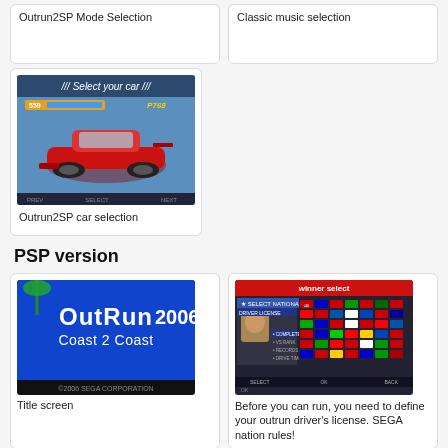Outrun2SP Mode Selection
Classic music selection
[Figure (screenshot): Outrun2SP car selection screen showing a red sports car with 'Select your car' text]
Outrun2SP car selection
PSP version
[Figure (screenshot): OutRun 2006 Coast 2 Coast title screen with blue background and game logo]
Title screen
[Figure (screenshot): License/driver select screen showing nationality selection with flag grid and driver profile]
Before you can run, you need to define your outrun driver's license. SEGA nation rules!